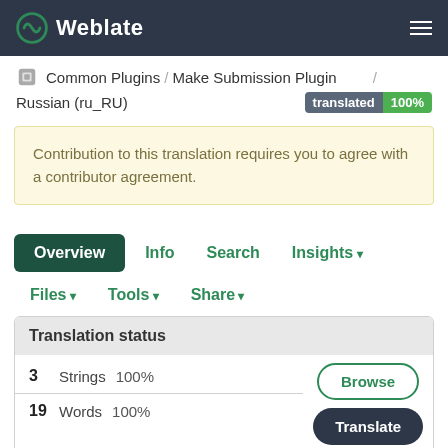Weblate
Common Plugins / Make Submission Plugin / Russian (ru_RU)  translated 100%
Contribution to this translation requires you to agree with a contributor agreement.
Overview  Info  Search  Insights ▾  Files ▾  Tools ▾  Share ▾
Translation status
| Count | Type | Percent |
| --- | --- | --- |
| 3 | Strings | 100% |
| 19 | Words | 100% |